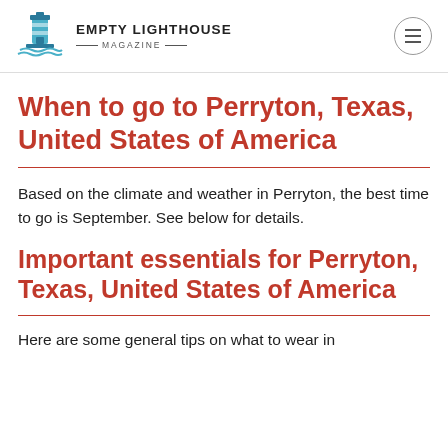EMPTY LIGHTHOUSE MAGAZINE
When to go to Perryton, Texas, United States of America
Based on the climate and weather in Perryton, the best time to go is September. See below for details.
Important essentials for Perryton, Texas, United States of America
Here are some general tips on what to wear in